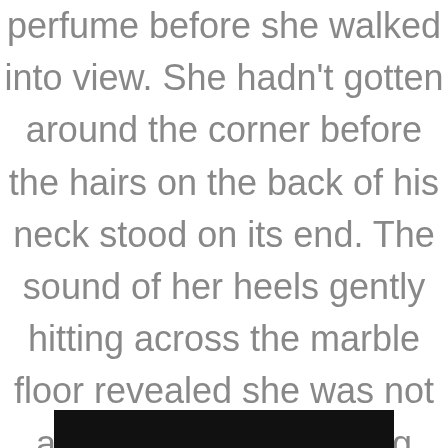perfume before she walked into view. She hadn't gotten around the corner before the hairs on the back of his neck stood on its end. The sound of her heels gently hitting across the marble floor revealed she was not a heavy chick, breaking
[Figure (other): Black bar at the bottom of the page, partially visible]